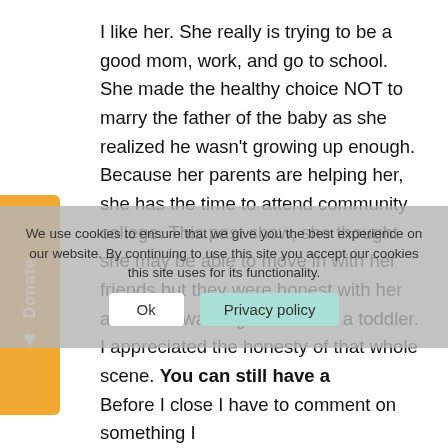I like her. She really is trying to be a good mom, work, and go to school. She made the healthy choice NOT to marry the father of the baby as she realized he wasn't growing up enough. Because her parents are helping her, she has the time to attend community college. This past show, she thought she may be able to move in with her friends but they were honest with her about not wanting to live with a toddler. I appreciated the honesty of that whole scene. You can still have a productive life after an unplanned pregnancy, but there are sacrifices and it takes a team of people to help you. That is the hard truth. She is really stepping up to the plate though. Go Maci!
Before I close I have to comment on something I